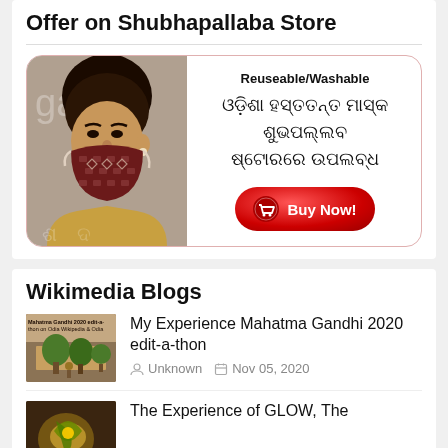Offer on Shubhapallaba Store
[Figure (infographic): Advertisement banner for Reuseable/Washable Odia handmade mask available on Shubhapallaba Store, with a photo of a woman wearing a patterned mask, Odia script text, and a red Buy Now button]
Wikimedia Blogs
[Figure (photo): Thumbnail image for Mahatma Gandhi 2020 edit-a-thon blog post]
My Experience Mahatma Gandhi 2020 edit-a-thon
Unknown   Nov 05, 2020
[Figure (photo): Thumbnail image for GLOW blog post]
The Experience of GLOW, The